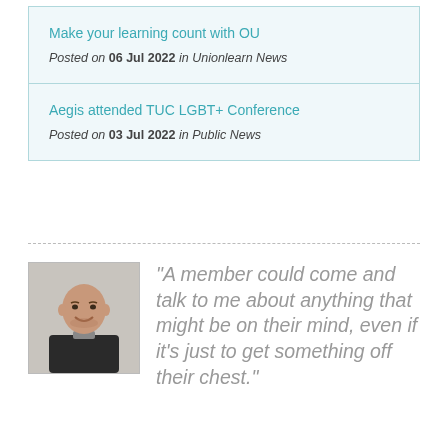Make your learning count with OU
Posted on 06 Jul 2022 in Unionlearn News
Aegis attended TUC LGBT+ Conference
Posted on 03 Jul 2022 in Public News
[Figure (photo): Portrait photo of a bald man smiling, wearing a dark sweater]
“A member could come and talk to me about anything that might be on their mind, even if it’s just to get something off their chest.”